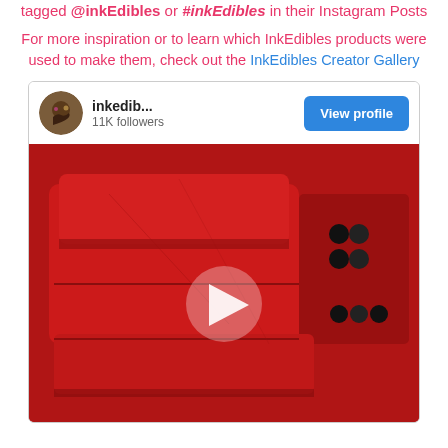tagged @inkEdibles or #inkEdibles in their Instagram Posts
For more inspiration or to learn which InkEdibles products were used to make them, check out the InkEdibles Creator Gallery
[Figure (screenshot): Instagram embed card showing inkedib... account with 11K followers, a View profile button, and a video thumbnail of red heat press equipment with a play button overlay]